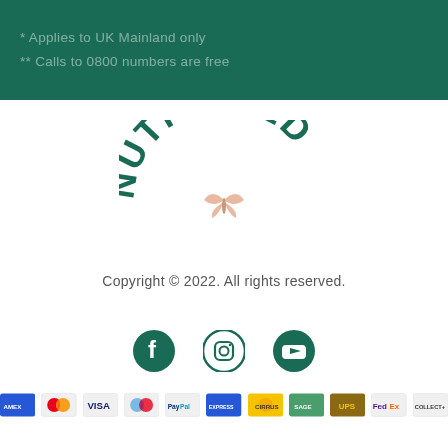* Applies to UK Mainland only
** Calls to 0800 numbers are free
[Figure (logo): Nutriseed logo with arched text and butterfly icon in green and peach]
Copyright © 2022. All rights reserved.
[Figure (infographic): Social media icons: Facebook, Instagram, YouTube in dark green]
[Figure (infographic): Payment method icons: American Express, Mastercard, Visa, Maestro, PayPal, AMEX, Cirrus/Maestro, UPS, FedEx, and another courier]